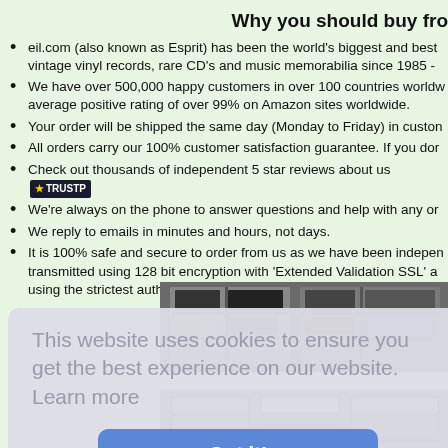Why you should buy fro
eil.com (also known as Esprit) has been the world's biggest and best vintage vinyl records, rare CD's and music memorabilia since 1985 -
We have over 500,000 happy customers in over 100 countries worldw average positive rating of over 99% on Amazon sites worldwide.
Your order will be shipped the same day (Monday to Friday) in custo
All orders carry our 100% customer satisfaction guarantee. If you dor
Check out thousands of independent 5 star reviews about us [TRUSTPILOT]
We're always on the phone to answer questions and help with any or
We reply to emails in minutes and hours, not days.
It is 100% safe and secure to order from us as we have been indeper transmitted using 128 bit encryption with 'Extended Validation SSL' a using the strictest authentication standard. See the padlock symbol sl
[Figure (photo): Warehouse shelves with vinyl records and boxes]
This website uses cookies to ensure you get the best experience on our website.  Learn more
Got it!